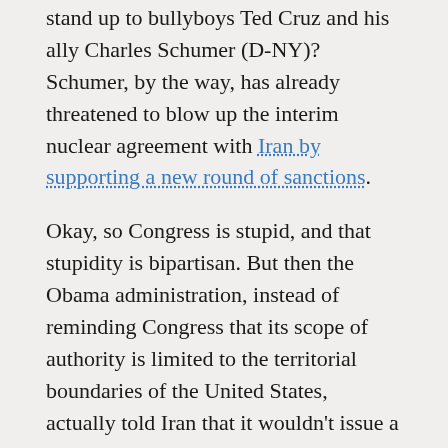stand up to bullyboys Ted Cruz and his ally Charles Schumer (D-NY)? Schumer, by the way, has already threatened to blow up the interim nuclear agreement with Iran by supporting a new round of sanctions.
Okay, so Congress is stupid, and that stupidity is bipartisan. But then the Obama administration, instead of reminding Congress that its scope of authority is limited to the territorial boundaries of the United States, actually told Iran that it wouldn't issue a visa to Aboutalebi. Mind you, the Iranian diplomat wasn't coming over here to lobby on K Street or something similarly nefarious. He was going to work for an international organization that just happens to be located in New York.
Iran has, quite rightly, refused withdraw its choice. Tehran is now pursuing a diplomatic solution to the